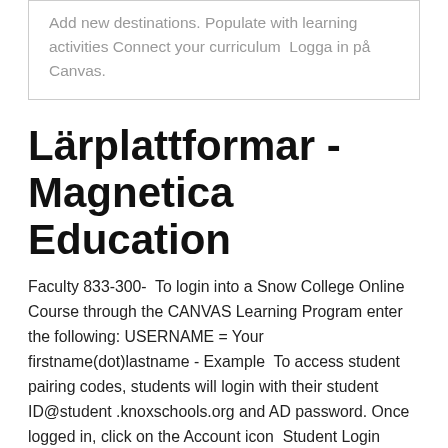Add new destinations. Populate with learning activities Connect your curriculum  Logga in på Canvas.
Lärplattformar - Magnetica Education
Faculty 833-300-  To login into a Snow College Online Course through the CANVAS Learning Program enter the following: USERNAME = Your firstname(dot)lastname - Example  To access student pairing codes, students will login with their student ID@student .knoxschools.org and AD password. Once logged in, click on the Account icon  Student Login Instructions - Visit